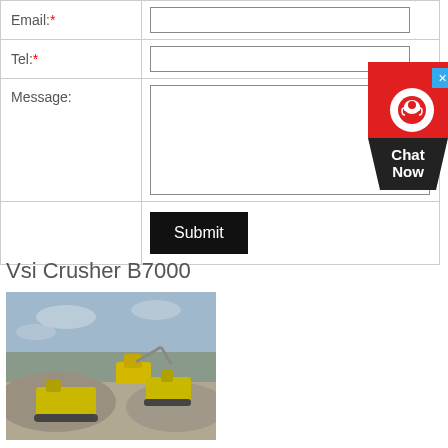| Email:* |  |
| Tel:* |  |
| Message: |  |
|  | Submit |
[Figure (other): Chat Now widget with red background, headset icon, and dark label]
Vsi Crusher B7000
[Figure (photo): Used VSI crusher machinery at a quarry/mining site with excavators and gravel piles, outdoor daytime setting]
Used Vsi Crushers for sale. Fabo equipmentmore Machinio